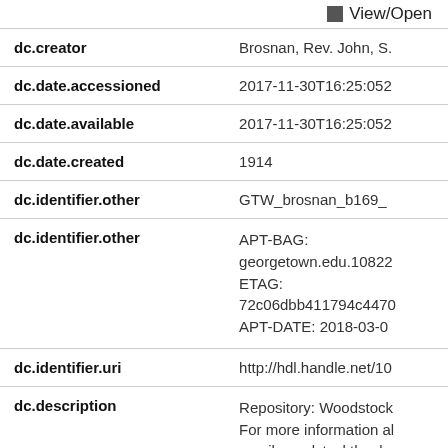View/Open
| Field | Value |
| --- | --- |
| dc.creator | Brosnan, Rev. John, S. |
| dc.date.accessioned | 2017-11-30T16:25:052 |
| dc.date.available | 2017-11-30T16:25:052 |
| dc.date.created | 1914 |
| dc.identifier.other | GTW_brosnan_b169_ |
| dc.identifier.other | APT-BAG: georgetown.edu.10822
ETAG: 72c06dbb411794c447(
APT-DATE: 2018-03-0 |
| dc.identifier.uri | http://hdl.handle.net/10 |
| dc.description | Repository: Woodstock
For more information al
email woodstocktheolo |